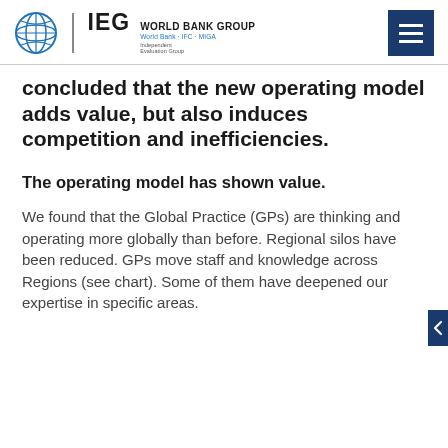IEG World Bank Group — Independent Evaluation Group — World Bank + IFC + MIGA
concluded that the new operating model adds value, but also induces competition and inefficiencies.
The operating model has shown value.
We found that the Global Practice (GPs) are thinking and operating more globally than before. Regional silos have been reduced. GPs move staff and knowledge across Regions (see chart). Some of them have deepened our expertise in specific areas.